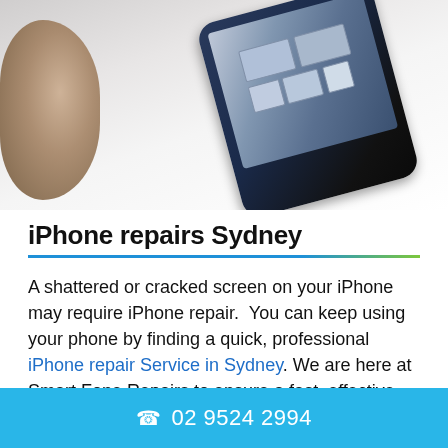[Figure (photo): Hand holding a disassembled iPhone showing internal components, photographed against a white background. A finger is visible on the left and the phone device tilted at an angle on the right.]
iPhone repairs Sydney
A shattered or cracked screen on your iPhone may require iPhone repair.  You can keep using your phone by finding a quick, professional iPhone repair Service in Sydney. We are here at Smart Fone Repairs to ensure a fast, effective, professional iPhone repair solution so your iPhone will be up and running in no time.
Repair Now →
02 9524 2994